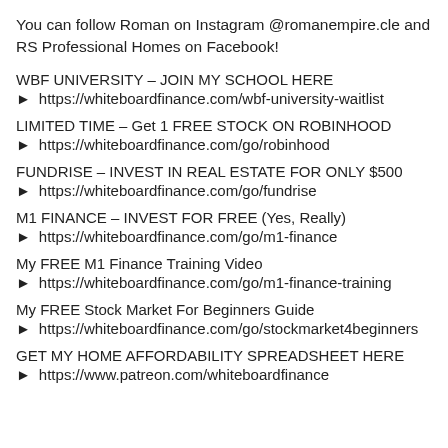You can follow Roman on Instagram @romanempire.cle and RS Professional Homes on Facebook!
WBF UNIVERSITY – JOIN MY SCHOOL HERE
► https://whiteboardfinance.com/wbf-university-waitlist
LIMITED TIME – Get 1 FREE STOCK ON ROBINHOOD
► https://whiteboardfinance.com/go/robinhood
FUNDRISE – INVEST IN REAL ESTATE FOR ONLY $500
► https://whiteboardfinance.com/go/fundrise
M1 FINANCE – INVEST FOR FREE (Yes, Really)
► https://whiteboardfinance.com/go/m1-finance
My FREE M1 Finance Training Video
► https://whiteboardfinance.com/go/m1-finance-training
My FREE Stock Market For Beginners Guide
► https://whiteboardfinance.com/go/stockmarket4beginners
GET MY HOME AFFORDABILITY SPREADSHEET HERE
► https://www.patreon.com/whiteboardfinance